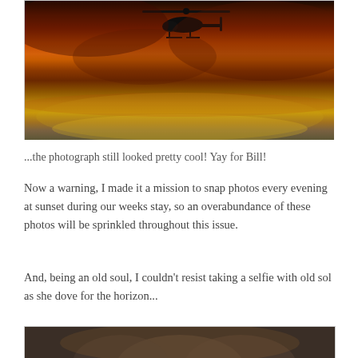[Figure (photo): Helicopter silhouette flying against a dramatic sunset sky with deep red, orange, and golden clouds]
...the photograph still looked pretty cool! Yay for Bill!
Now a warning, I made it a mission to snap photos every evening at sunset during our weeks stay, so an overabundance of these photos will be sprinkled throughout this issue.
And, being an old soul, I couldn't resist taking a selfie with old sol as she dove for the horizon...
[Figure (photo): Partial view of a selfie photo at sunset, partially cropped at bottom of page]